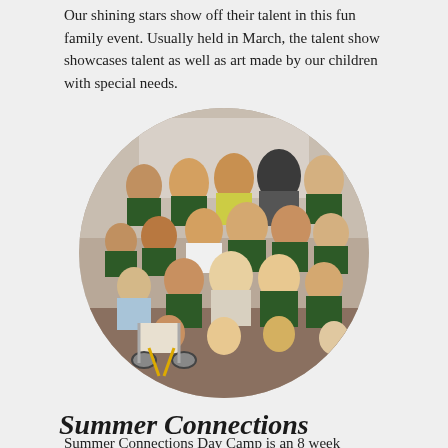Our shining stars show off their talent in this fun family event. Usually held in March, the talent show showcases talent as well as art made by our children with special needs.
[Figure (photo): A circular group photo of children and adults, many wearing dark green t-shirts, posed together indoors. One child is in a wheelchair in the front row.]
Summer Connections Day Camp
Summer Connections Day Camp is an 8 week